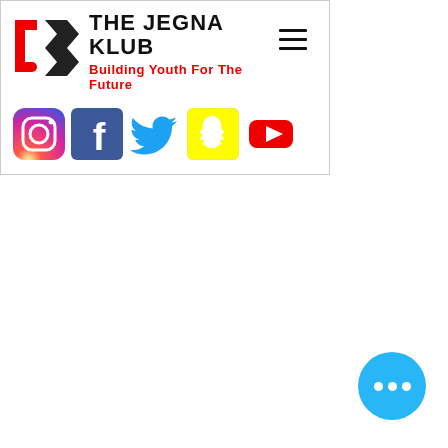[Figure (logo): The Jegna Klub logo with red J and black silhouette, brand name THE JEGNA KLUB, tagline Building Youth For The Future, hamburger menu icon, and social media icons for Instagram, Facebook, Twitter, Snapchat, YouTube]
[Figure (other): Blue circular chat/messenger button with three white dots]